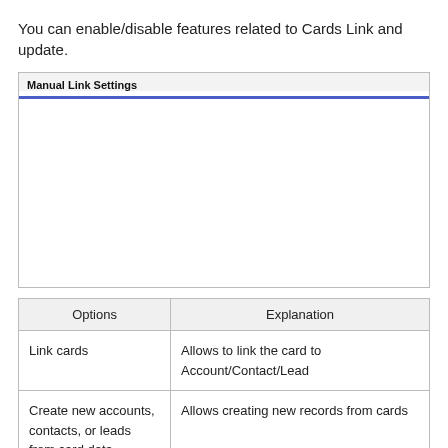You can enable/disable features related to Cards Link and update.
[Figure (screenshot): Manual Link Settings panel with a blue underline bar and empty white content area]
| Options | Explanation |
| --- | --- |
| Link cards | Allows to link the card to Account/Contact/Lead |
| Create new accounts, contacts, or leads from card data | Allows creating new records from cards |